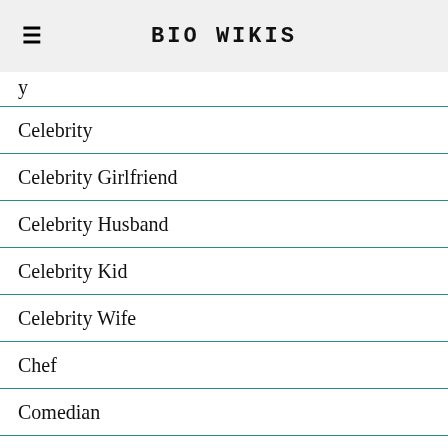BIO WIKIS
Celebrity
Celebrity Girlfriend
Celebrity Husband
Celebrity Kid
Celebrity Wife
Chef
Comedian
Dancer
DJ
Entertainment
Entrepreneur